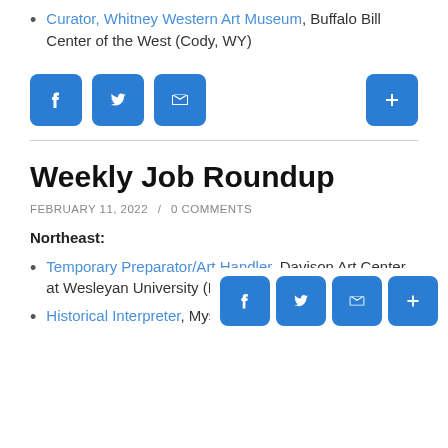Curator, Whitney Western Art Museum, Buffalo Bill Center of the West (Cody, WY)
[Figure (other): Social sharing buttons: Facebook, Twitter, Email, and a plus/more button]
Weekly Job Roundup
FEBRUARY 11, 2022  /  0 COMMENTS
Northeast:
Temporary Preparator/Art Handler, Davison Art Center at Wesleyan University (Middletown, CT)
Historical Interpreter, Mystic Seaport Museum...
[Figure (other): Social sharing buttons bottom overlay: Facebook, Twitter, Email, and plus button]